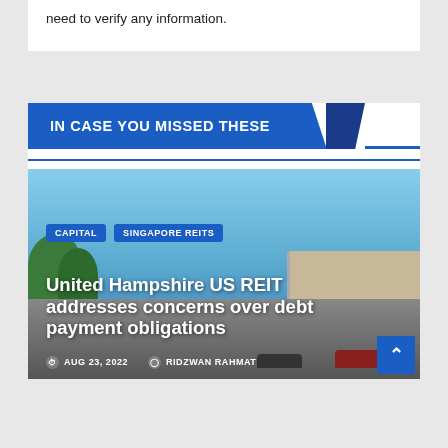need to verify any information.
IN CASE YOU MISSED THESE
[Figure (photo): Shopping center exterior with Publix sign, parking lot, palm trees, and blue sky. Overlaid with article tags CAPITAL and SINGAPORE REITS, article title 'United Hampshire US REIT addresses concerns over debt payment obligations', date AUG 23, 2022, and author RIDZWAN RAHMAT.]